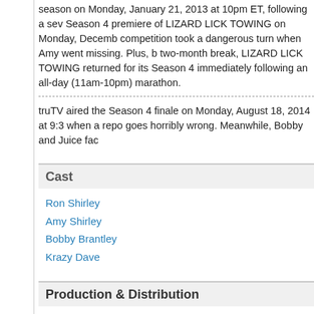season on Monday, January 21, 2013 at 10pm ET, following a Sev Season 4 premiere of LIZARD LICK TOWING on Monday, December competition took a dangerous turn when Amy went missing. Plus, two-month break, LIZARD LICK TOWING returned for its Season 4 immediately following an all-day (11am-10pm) marathon.
truTV aired the Season 4 finale on Monday, August 18, 2014 at 9:3 when a repo goes horribly wrong. Meanwhile, Bobby and Juice fac
Cast
Ron Shirley
Amy Shirley
Bobby Brantley
Krazy Dave
Production & Distribution
Produced by Zodiak USA